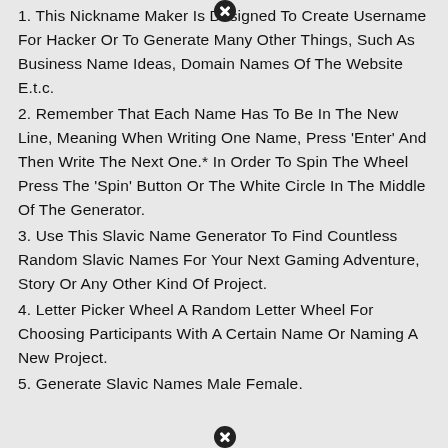1. This Nickname Maker Is Designed To Create Username For Hacker Or To Generate Many Other Things, Such As Business Name Ideas, Domain Names Of The Website E.t.c.
2. Remember That Each Name Has To Be In The New Line, Meaning When Writing One Name, Press 'Enter' And Then Write The Next One.* In Order To Spin The Wheel Press The 'Spin' Button Or The White Circle In The Middle Of The Generator.
3. Use This Slavic Name Generator To Find Countless Random Slavic Names For Your Next Gaming Adventure, Story Or Any Other Kind Of Project.
4. Letter Picker Wheel A Random Letter Wheel For Choosing Participants With A Certain Name Or Naming A New Project.
5. Generate Slavic Names Male Female.